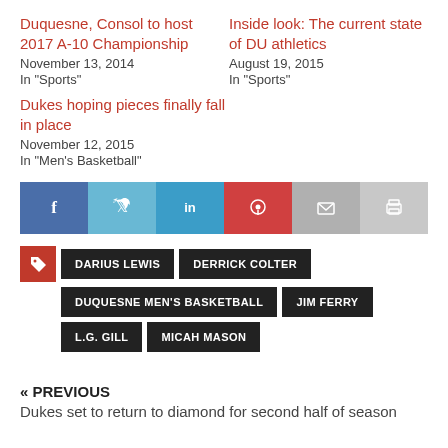Duquesne, Consol to host 2017 A-10 Championship
November 13, 2014
In "Sports"
Inside look: The current state of DU athletics
August 19, 2015
In "Sports"
Dukes hoping pieces finally fall in place
November 12, 2015
In "Men's Basketball"
[Figure (infographic): Social share bar with icons: Facebook (blue), Twitter (light blue), LinkedIn (medium blue), Pinterest (red), Email (grey), Print (light grey)]
DARIUS LEWIS
DERRICK COLTER
DUQUESNE MEN'S BASKETBALL
JIM FERRY
L.G. GILL
MICAH MASON
« PREVIOUS
Dukes set to return to diamond for second half of season